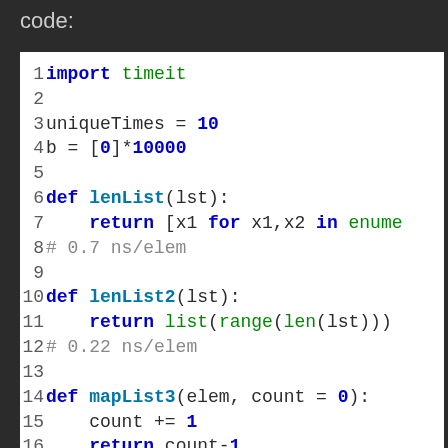code:
[Figure (screenshot): Python code editor showing lines 1-19 with syntax highlighting on white background. Keywords in dark blue bold, function names in blue bold, built-in functions in green, comments in gray.]